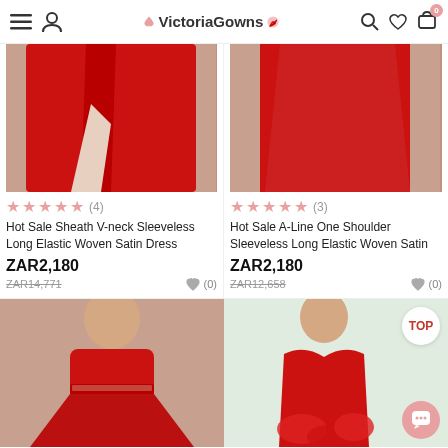VictoriaGowns
[Figure (photo): Red satin gown with high slit, lower portion shown]
[Figure (photo): Red satin A-line gown, lower portion shown]
★★★★★ (4)
★★★★★ (3)
Hot Sale Sheath V-neck Sleeveless Long Elastic Woven Satin Dress
Hot Sale A-Line One Shoulder Sleeveless Long Elastic Woven Satin
ZAR2,180
ZAR14,771
ZAR2,180
ZAR12,658
[Figure (photo): Model in red strapless gown with beaded waist]
[Figure (photo): Model in red sweetheart neckline gown with ruffles, TOP badge shown]